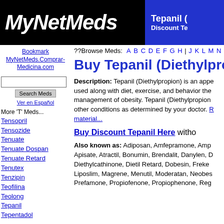MyNetMeds | Tepanil ( | Discount Te
??Browse Meds: A B C D E F G H I J K L M N O
Bookmark MyNetMeds.Comprar-Medicina.com
Buy Tepanil (Diethylprop
Description: Tepanil (Diethylpropion) is an appe used along with diet, exercise, and behavior the management of obesity. Tepanil (Diethylpropion other conditions as determined by your doctor. R material...
Buy Discount Tepanil Here witho
Also known as: Adiposan, Amfepramone, Amp Apisate, Atractil, Bonumin, Brendalit, Danylen, D Diethylcathinone, Dietil Retard, Dobesin, Freke Liposlim, Magrene, Menutil, Moderatan, Neobes Prefamone, Propiofenone, Propiophenone, Reg
Tensopril
Tensozide
Tenuate
Tenuate Dospan
Tenuate Retard
Tenutex
Tenzipin
Teofilina
Teolong
Tepanil
Tepentadol